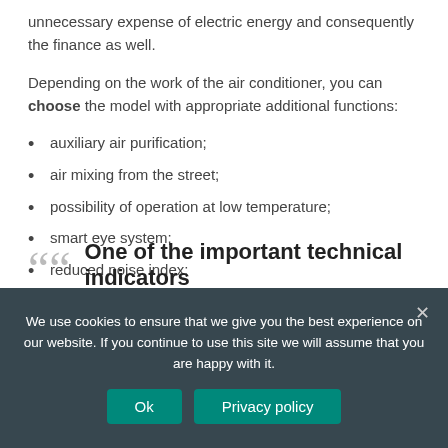unnecessary expense of electric energy and consequently the finance as well.
Depending on the work of the air conditioner, you can choose the model with appropriate additional functions:
auxiliary air purification;
air mixing from the street;
possibility of operation at low temperature;
smart eye system;
reduced noise index;
ionizer.
One of the important technical indicators
We use cookies to ensure that we give you the best experience on our website. If you continue to use this site we will assume that you are happy with it.